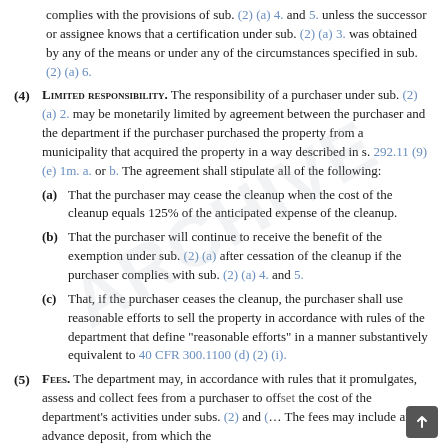complies with the provisions of sub. (2) (a) 4. and 5. unless the successor or assignee knows that a certification under sub. (2) (a) 3. was obtained by any of the means or under any of the circumstances specified in sub. (2) (a) 6.
(4) LIMITED RESPONSIBILITY. The responsibility of a purchaser under sub. (2) (a) 2. may be monetarily limited by agreement between the purchaser and the department if the purchaser purchased the property from a municipality that acquired the property in a way described in s. 292.11 (9) (e) 1m. a. or b. The agreement shall stipulate all of the following:
(a) That the purchaser may cease the cleanup when the cost of the cleanup equals 125% of the anticipated expense of the cleanup.
(b) That the purchaser will continue to receive the benefit of the exemption under sub. (2) (a) after cessation of the cleanup if the purchaser complies with sub. (2) (a) 4. and 5.
(c) That, if the purchaser ceases the cleanup, the purchaser shall use reasonable efforts to sell the property in accordance with rules of the department that define "reasonable efforts" in a manner substantively equivalent to 40 CFR 300.1100 (d) (2) (i).
(5) FEES. The department may, in accordance with rules that it promulgates, assess and collect fees from a purchaser to offset the cost of the department's activities under subs. (2) and (…). The fees may include an advance deposit, from which the